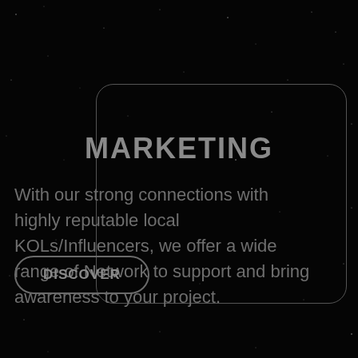MARKETING
With our strong connections with highly reputable local KOLs/Influencers, we offer a wide range of Network to support and bring awareness to your project.
DISCOVER